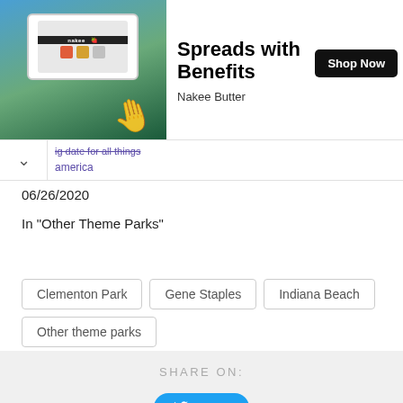[Figure (screenshot): Ad banner showing a phone with Nakee app being held, with title 'Spreads with Benefits', subtitle 'Nakee Butter', and a 'Shop Now' button]
ig date for all things america
06/26/2020
In "Other Theme Parks"
Clementon Park
Gene Staples
Indiana Beach
Other theme parks
SHARE ON: